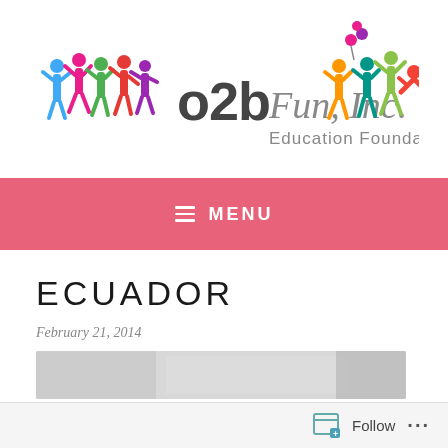[Figure (logo): o2b Fun, Inc. Education Foundation logo with colorful silhouette figures of children and the organization name]
≡ MENU
ECUADOR
February 21, 2014
[Figure (photo): Partial photograph visible at the bottom of the page, appears to be an outdoor scene]
Follow ...